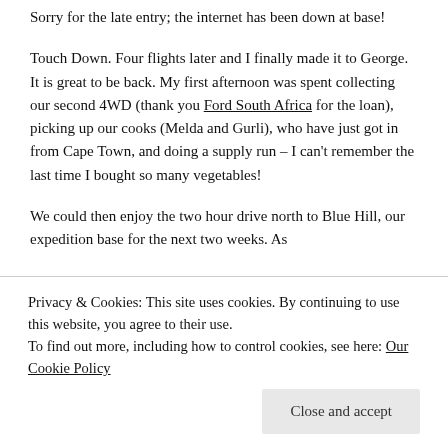Sorry for the late entry; the internet has been down at base!
Touch Down. Four flights later and I finally made it to George. It is great to be back. My first afternoon was spent collecting our second 4WD (thank you Ford South Africa for the loan), picking up our cooks (Melda and Gurli), who have just got in from Cape Town, and doing a supply run – I can't remember the last time I bought so many vegetables!
We could then enjoy the two hour drive north to Blue Hill, our expedition base for the next two weeks. As
Privacy & Cookies: This site uses cookies. By continuing to use this website, you agree to their use.
To find out more, including how to control cookies, see here: Our Cookie Policy